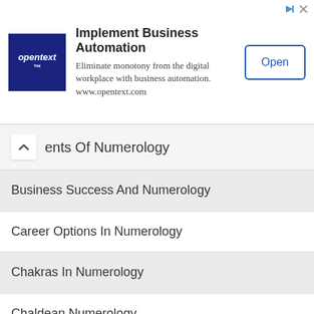[Figure (screenshot): OpenText advertisement banner: logo on left, 'Implement Business Automation' heading, description text, and 'Open' button on right]
ents Of Numerology
Business Success And Numerology
Career Options In Numerology
Chakras In Numerology
Chaldean Numerology
Chinese Lucky Numbers In Numerology
Chinese Vs Western Numerology
Company Names In Numerology
Compatible And Incompatible Numbers In Numerology
Divorce Remedy In Numerology (partially visible)